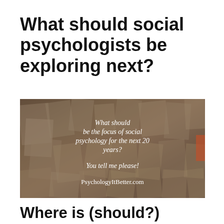What should social psychologists be exploring next?
[Figure (photo): Photo of many open books spread out, overlaid with italic white text reading 'What should be the focus of social psychology for the next 20 years? You tell me please! PsychologyItBetter.com']
Where is (should?) social psychology heading?